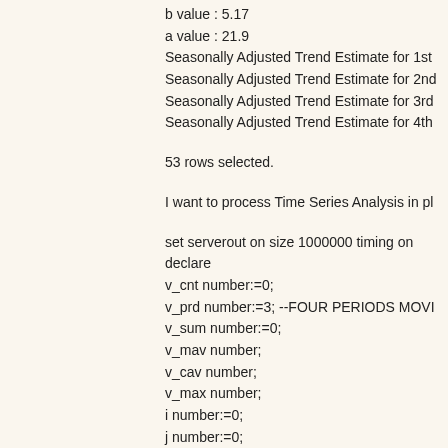b value : 5.17
a value : 21.9
Seasonally Adjusted Trend Estimate for 1st
Seasonally Adjusted Trend Estimate for 2nd
Seasonally Adjusted Trend Estimate for 3rd
Seasonally Adjusted Trend Estimate for 4th
53 rows selected.
I want to process Time Series Analysis in pl
set serverout on size 1000000 timing on
declare
v_cnt number:=0;
v_prd number:=3; --FOUR PERIODS MOVI
v_sum number:=0;
v_mav number;
v_cav number;
v_max number;
i number:=0;
j number:=0;
type counter is table of number index by pls
frprdma counter;
ctdma counter;
pctav counter;
q1 number:=0;